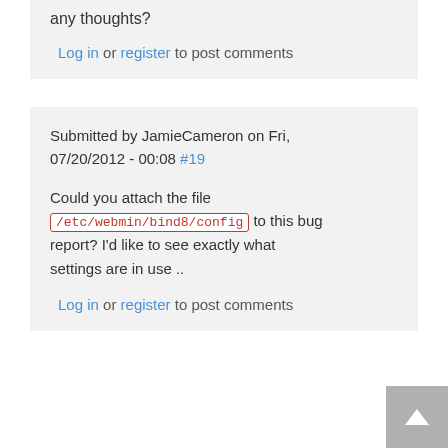any thoughts?
Log in or register to post comments
Submitted by JamieCameron on Fri, 07/20/2012 - 00:08 #19
Could you attach the file /etc/webmin/bind8/config to this bug report? I'd like to see exactly what settings are in use ..
Log in or register to post comments